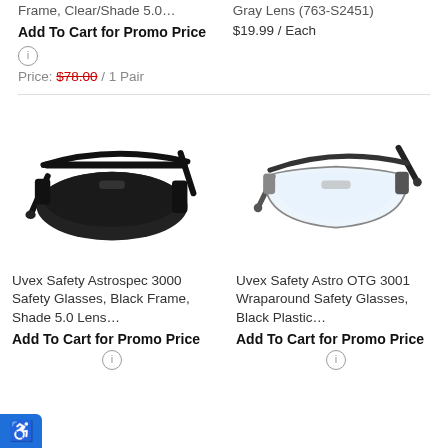Frame, Clear/Shade 5.0…
Gray Lens (763-S2451)
Add To Cart for Promo Price
$19.99 / Each
Price: $78.00 / 1 Pair
[Figure (photo): Uvex Safety Astrospec 3000 safety glasses with black frame and dark/shade 5.0 lens, angled view]
[Figure (photo): Uvex Safety Astro OTG 3001 Wraparound safety glasses with black plastic frame and clear lens, angled view]
Uvex Safety Astrospec 3000 Safety Glasses, Black Frame, Shade 5.0 Lens…
Uvex Safety Astro OTG 3001 Wraparound Safety Glasses, Black Plastic…
Add To Cart for Promo Price
Add To Cart for Promo Price